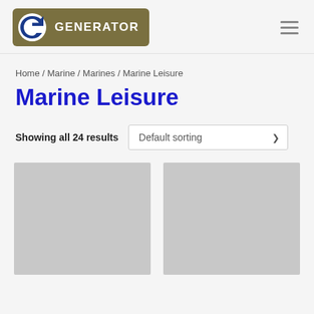Generator logo header with hamburger menu
Home / Marine / Marines / Marine Leisure
Marine Leisure
Showing all 24 results
[Figure (screenshot): Two product image placeholders (grey boxes) in a two-column product grid]